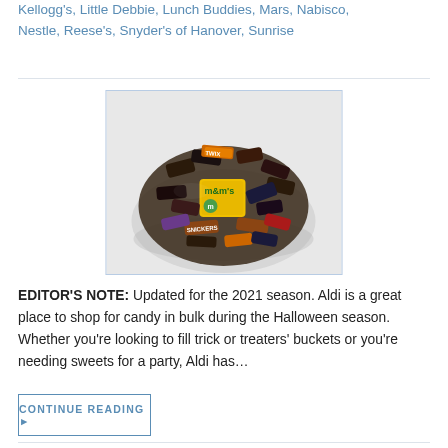Kellogg's, Little Debbie, Lunch Buddies, Mars, Nabisco, Nestle, Reese's, Snyder's of Hanover, Sunrise
[Figure (photo): A bowl filled with assorted Halloween candy including M&Ms, Twix, and other miniature candy bars on a white background]
EDITOR'S NOTE: Updated for the 2021 season. Aldi is a great place to shop for candy in bulk during the Halloween season. Whether you're looking to fill trick or treaters' buckets or you're needing sweets for a party, Aldi has...
CONTINUE READING ▶